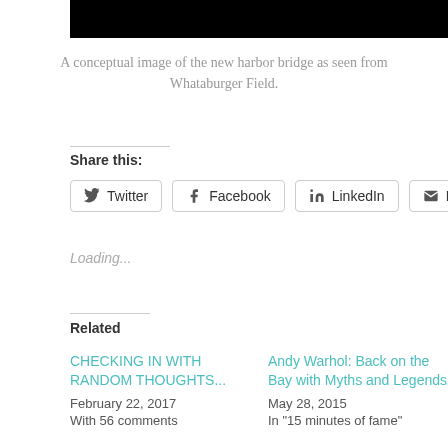[Figure (photo): Black bar representing a conceptual image of the new harbor bridge as seen from Whataburger Field]
A conceptual image of the new harbor bridge as seen from Whataburger Field.
Share this:
Twitter   Facebook   LinkedIn   Email
Loading...
Related
CHECKING IN WITH RANDOM THOUGHTS...
February 22, 2017
With 56 comments
Andy Warhol: Back on the Bay with Myths and Legends
May 28, 2015
In "15 minutes of fame"